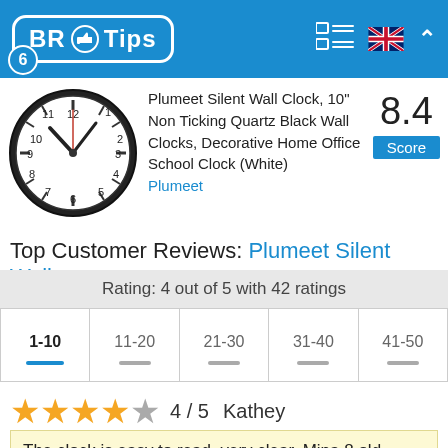BR Tips — navigation header with logo, menu icons, UK flag
[Figure (photo): Analog wall clock face, white with black numerals, showing approximately 10:10 time]
Plumeet Silent Wall Clock, 10" Non Ticking Quartz Black Wall Clocks, Decorative Home Office School Clock (White)
Plumeet
8.4 Score
Top Customer Reviews: Plumeet Silent Wall ...
Rating: 4 out of 5 with 42 ratings
1-10 | 11-20 | 21-30 | 31-40 | 41-50
★★★★☆ 4 / 5   Kathey
The clock is easy to read, very clear. Mina 8 old